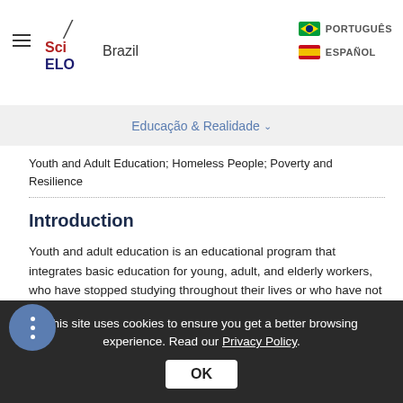SciELO Brazil — PORTUGUÊS / ESPAÑOL
Educação & Realidade
Youth and Adult Education; Homeless People; Poverty and Resilience
Introduction
Youth and adult education is an educational program that integrates basic education for young, adult, and elderly workers, who have stopped studying throughout their lives or who have not even started studying.
This site uses cookies to ensure you get a better browsing experience. Read our Privacy Policy.